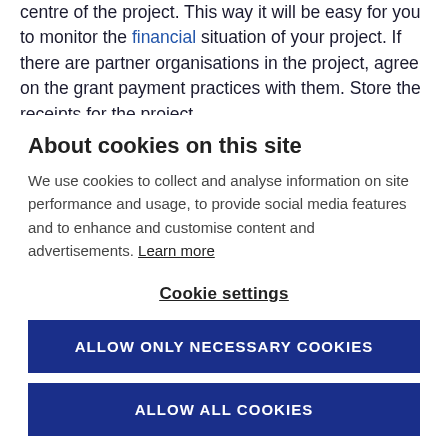centre of the project. This way it will be easy for you to monitor the financial situation of your project. If there are partner organisations in the project, agree on the grant payment practices with them. Store the receipts for the project
About cookies on this site
We use cookies to collect and analyse information on site performance and usage, to provide social media features and to enhance and customise content and advertisements. Learn more
Cookie settings
ALLOW ONLY NECESSARY COOKIES
ALLOW ALL COOKIES